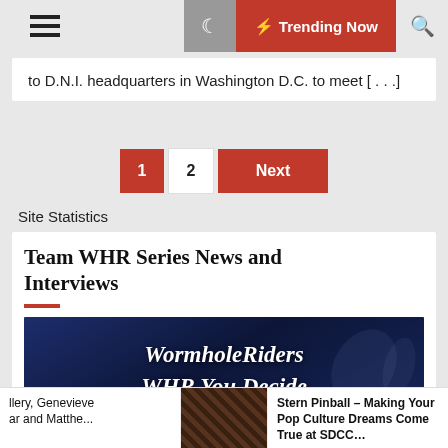≡  🌙  ⚡ Trending Now  🔍
to D.N.I. headquarters in Washington D.C. to meet [...]
1  2  Next
Site Statistics
Team WHR Series News and Interviews
[Figure (illustration): WormholeRiders WHR You Decide banner — dark blue background with italic white serif text]
llery, Genevieve ar and Matthe...
Stern Pinball – Making Your Pop Culture Dreams Come True at SDCC...